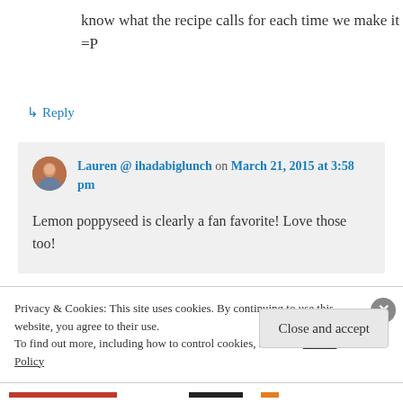know what the recipe calls for each time we make it =P
↳ Reply
Lauren @ ihadabiglunch on March 21, 2015 at 3:58 pm
Lemon poppyseed is clearly a fan favorite! Love those too!
Privacy & Cookies: This site uses cookies. By continuing to use this website, you agree to their use. To find out more, including how to control cookies, see here: Cookie Policy
Close and accept